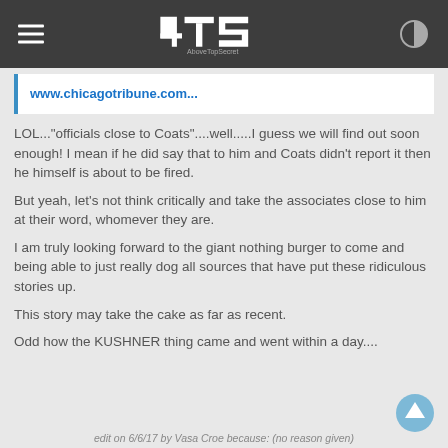AboveTopSecret (4TS)
www.chicagotribune.com...
LOL..."officials close to Coats"....well.....I guess we will find out soon enough! I mean if he did say that to him and Coats didn't report it then he himself is about to be fired.

But yeah, let's not think critically and take the associates close to him at their word, whomever they are.

I am truly looking forward to the giant nothing burger to come and being able to just really dog all sources that have put these ridiculous stories up.

This story may take the cake as far as recent.

Odd how the KUSHNER thing came and went within a day....
edit on 6/6/17 by Vasa Croe because: (no reason given)